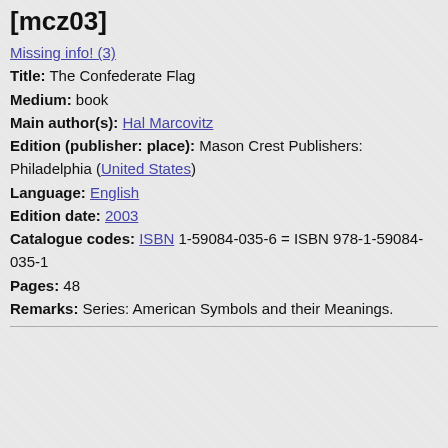[mcz03]
Missing info! (3)
Title: The Confederate Flag
Medium: book
Main author(s): Hal Marcovitz
Edition (publisher: place): Mason Crest Publishers: Philadelphia (United States)
Language: English
Edition date: 2003
Catalogue codes: ISBN 1-59084-035-6 = ISBN 978-1-59084-035-1
Pages: 48
Remarks: Series: American Symbols and their Meanings.